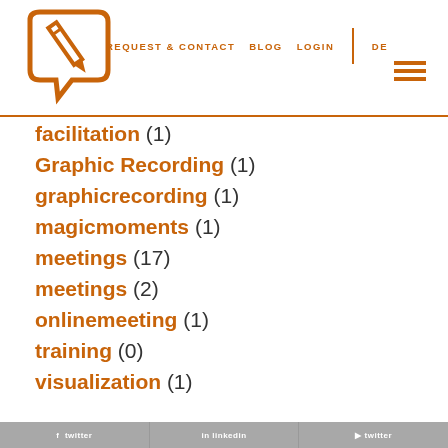[Figure (logo): Orange pen/pencil writing on a speech bubble icon — graphic recording logo]
REQUEST & CONTACT   BLOG   LOGIN   DE
facilitation (1)
Graphic Recording (1)
graphicrecording (1)
magicmoments (1)
meetings (17)
meetings (2)
onlinemeeting (1)
training (0)
visualization (1)
footer social links bar